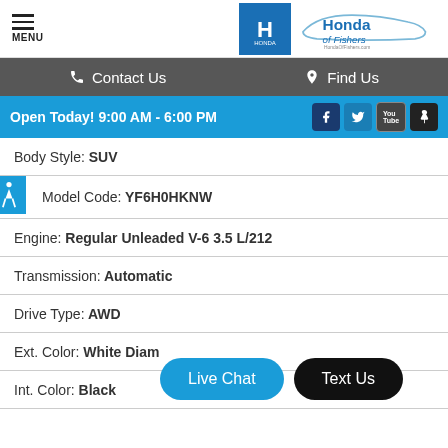[Figure (logo): Honda of Fishers dealership logo with Honda blue H emblem box and Honda of Fishers wordmark with car silhouette]
Contact Us   Find Us
Open Today! 9:00 AM - 6:00 PM
Body Style: SUV
Model Code: YF6H0HKNW
Engine: Regular Unleaded V-6 3.5 L/212
Transmission: Automatic
Drive Type: AWD
Ext. Color: White Diam
Int. Color: Black